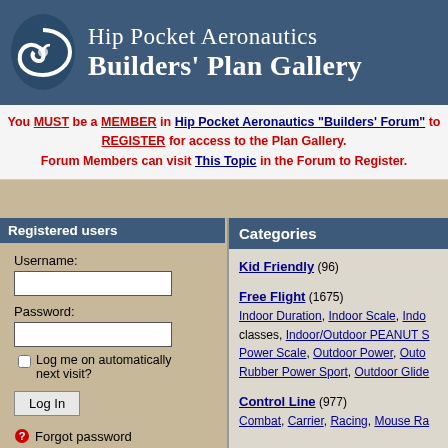[Figure (logo): Hip Pocket Aeronautics Builders' Plan Gallery banner with spiral logo on dark blue background]
You MUST be a MEMBER in Hip Pocket Aeronautics "Builders' Forum" to REGISTER for access to the Plan Gallery. Forum Members can visit This Topic in the Forum to Register.
Registered users
Username:
Password:
Log me on automatically next visit?
Log In
Forgot password
Categories
Kid Friendly (96)
Free Flight (1675) — Indoor Duration, Indoor Scale, Indo classes, Indoor/Outdoor PEANUT S Power Scale, Outdoor Power, Outo Rubber Power Sport, Outdoor Glide
Control Line (977) — Combat, Carrier, Racing, Mouse Ra